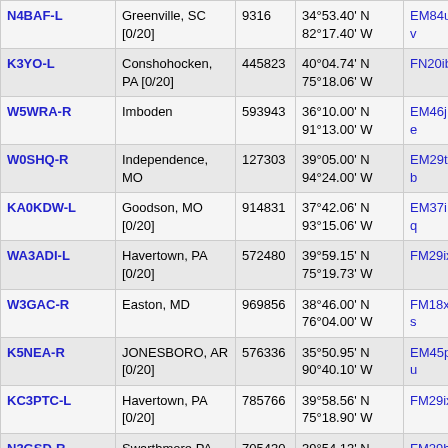| Callsign | Location | ID | Coordinates | Grid | Freq | Extra |
| --- | --- | --- | --- | --- | --- | --- |
| N4BAF-L | Greenville, SC [0/20] | 9316 | 34°53.40' N 82°17.40' W | EM84uv | 533.0 |  |
| K3YO-L | Conshohocken, PA [0/20] | 445823 | 40°04.74' N 75°18.06' W | FN20ib | 533.1 |  |
| W5WRA-R | Imboden | 593943 | 36°10.00' N 91°13.00' W | EM46je | 533.4 |  |
| W0SHQ-R | Independence, MO | 127303 | 39°05.00' N 94°24.00' W | EM29tb | 533.8 | 146.73 |
| KA0KDW-L | Goodson, MO [0/20] | 914831 | 37°42.06' N 93°15.06' W | EM37iq | 533.8 |  |
| WA3ADI-L | Havertown, PA [0/20] | 572480 | 39°59.15' N 75°19.73' W | FM29ix | 533.9 | 145.59 |
| W3GAC-R | Easton, MD | 969856 | 38°46.00' N 76°04.00' W | FM18xs | 534.0 | 147.04 |
| K5NEA-R | JONESBORO, AR [0/20] | 576336 | 35°50.95' N 90°40.10' W | EM45pu | 534.4 |  |
| KC3PTC-L | Havertown, PA [0/20] | 785766 | 39°58.56' N 75°18.90' W | FM29ix | 534.9 |  |
| N3GSD-R | Swarthmore,PA [0/20] | 705430 | 39°54.13' N 75°20.99' W | FM29hv | 534.9 |  |
| WR4AGC-L | N.C. [0/20] | 438259 | 36°02.75' N | FM06kb | 537.5 |  |